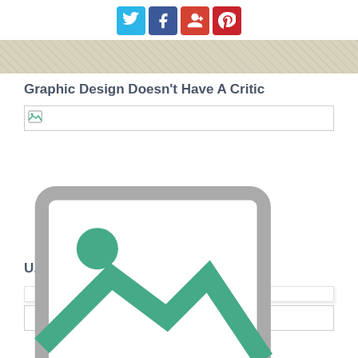[Figure (infographic): Social media share buttons: Twitter (blue), Facebook (dark blue), Google+ (red), Pinterest (red)]
[Figure (photo): Partial top image strip with beige/tan textured background]
Graphic Design Doesn’t Have A Critic
[Figure (photo): Broken image placeholder with small image icon]
U.S. Bureau Of Labor Statistics
[Figure (photo): Broken image placeholder with small image icon at bottom]